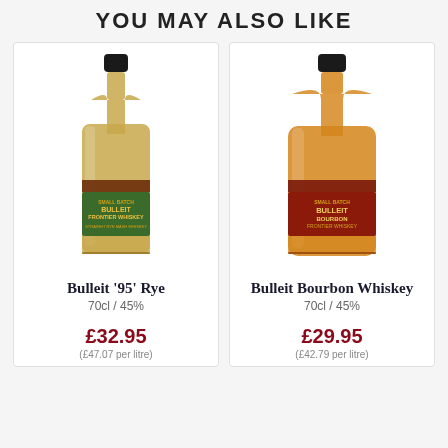YOU MAY ALSO LIKE
[Figure (photo): Bottle of Bulleit '95' Rye whiskey with green label]
Bulleit '95' Rye
70cl / 45%
£32.95
(£47.07 per litre)
[Figure (photo): Bottle of Bulleit Bourbon Whiskey with dark red label]
Bulleit Bourbon Whiskey
70cl / 45%
£29.95
(£42.79 per litre)